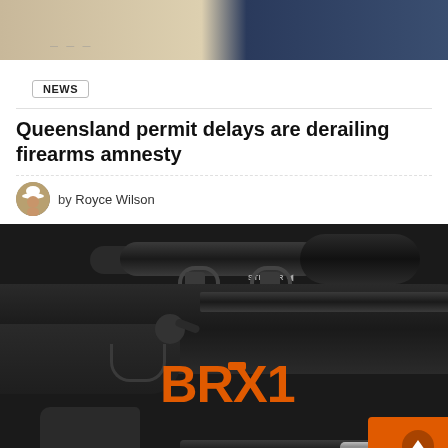[Figure (photo): Top portion of a news article page showing a partial background photo of what appears to be documents and a person in a blue shirt]
NEWS
Queensland permit delays are derailing firearms amnesty
by Royce Wilson
[Figure (photo): Product photo of a Bergara BRX1 bolt-action rifle with a Steiner scope mounted, shown disassembled with components including trigger group, barrel, and orange magazine box. Large orange BRX1 logo overlaid.]